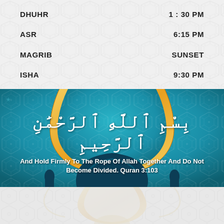| Prayer | Time |
| --- | --- |
| DHUHR | 1:30 PM |
| ASR | 6:15 PM |
| MAGRIB | SUNSET |
| ISHA | 9:30 PM |
[Figure (illustration): Islamic banner with mosque arch motif in teal, blue and gold with Arabic Bismillah text and Quran verse 3:103]
بِسْمِ ٱللَّهِ ٱلرَّحْمَٰنِ ٱلرَّحِيمِ
And Hold Firmly To The Rope Of Allah Together And Do Not Become Divided. Quran 3:103
[Figure (illustration): Bottom section showing Islamic ornamental design with gold arch and decorative pattern on light background]